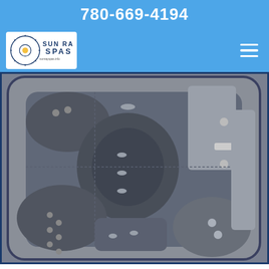780-669-4194
[Figure (logo): Sun Ray Spas logo with circular design and text]
[Figure (photo): Aerial/top-down view of a hot tub spa with multiple seating areas and jets, shown in grayscale]